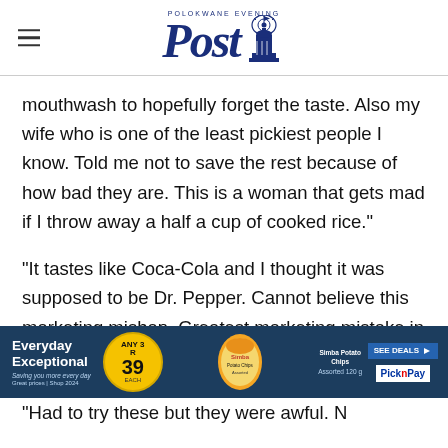Post (Polokwane Evening Post) — newspaper masthead with hamburger menu
mouthwash to hopefully forget the taste. Also my wife who is one of the least pickiest people I know. Told me not to save the rest because of how bad they are. This is a woman that gets mad if I throw away a half a cup of cooked rice."
"It tastes like Coca-Cola and I thought it was supposed to be Dr. Pepper. Cannot believe this marketing mishap. Greatest marketing mistake in the history of ever. Absurd."
[Figure (advertisement): Pick n Pay advertisement banner: 'Everyday Exceptional' with ANY 3 for R39, featuring Simba Potato Chips Assorted 120g, SEE DEALS button, Pick n Pay logo]
"Had to try these but they were awful. N